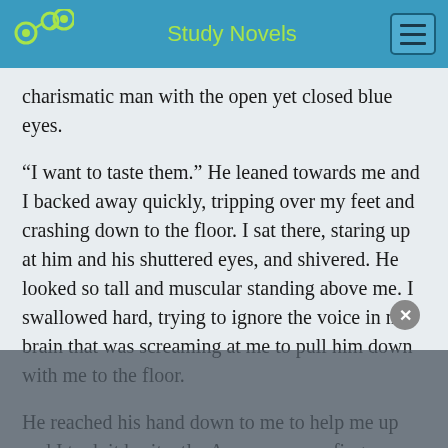Study Novels
charismatic man with the open yet closed blue eyes.
“I want to taste them.” He leaned towards me and I backed away quickly, tripping over my feet and crashing down to the floor. I sat there, staring up at him and his shuttered eyes, and shivered. He looked so tall and muscular standing above me. I swallowed hard, trying to ignore the voice in my brain that was screaming at me to pull him down with me to the floor.
He reached his hand down to me to help me up and I took it hesitantly. As soon as our fingers touched, I felt a shock of electricity course through me. His eyes looked at me in confusion for just one second as he pulled me up, but they quickly became guarded again.